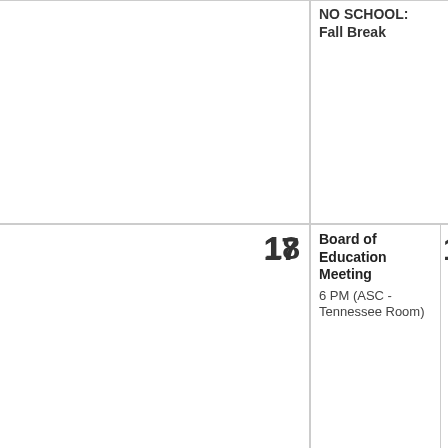NO SCHOOL: Fall Break
17
18
Board of Education Meeting
6 PM (ASC - Tennessee Room)
1